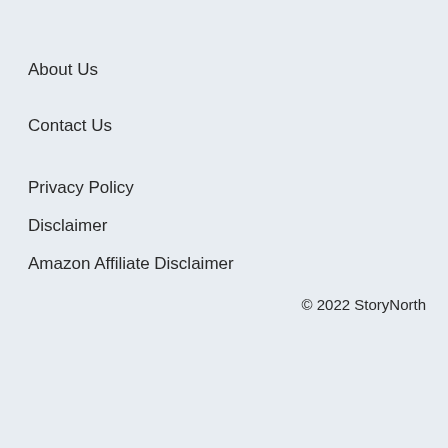About Us
Contact Us
Privacy Policy
Disclaimer
Amazon Affiliate Disclaimer
© 2022 StoryNorth
[Figure (other): Video player overlay with message: No compatible source was found for this media, with scroll-to-top button]
[Figure (other): Advertisement bar: Save Up to $100 on Brakes & Rotors at Virginia Tire & Auto]